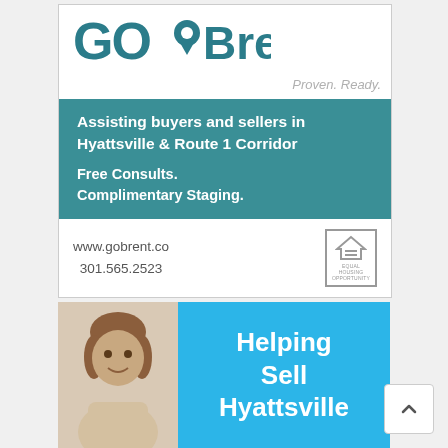[Figure (logo): GoBrent logo with teal location pin icon and the text 'GoBrent']
Proven. Ready.
Assisting buyers and sellers in Hyattsville & Route 1 Corridor
Free Consults.
Complimentary Staging.
www.gobrent.co
301.565.2523
[Figure (photo): Woman with brown hair smiling, professional headshot]
Helping Sell Hyattsville